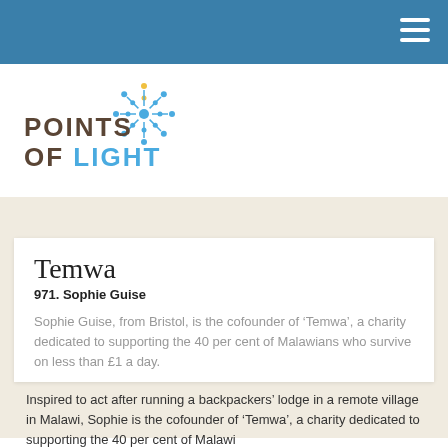Points of Light
[Figure (logo): Points of Light logo with starburst graphic in blue and yellow/gold dots, and text POINTS OF LIGHT in bold with LIGHT in blue]
Temwa
971. Sophie Guise
Sophie Guise, from Bristol, is the cofounder of ‘Temwa’, a charity dedicated to supporting the 40 per cent of Malawians who survive on less than £1 a day.
Inspired to act after running a backpackers’ lodge in a remote village in Malawi, Sophie is the cofounder of ‘Temwa’, a charity dedicated to supporting the 40 per cent of Malawians